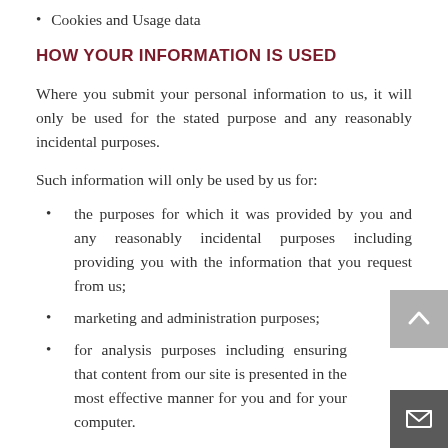Cookies and Usage data
HOW YOUR INFORMATION IS USED
Where you submit your personal information to us, it will only be used for the stated purpose and any reasonably incidental purposes.
Such information will only be used by us for:
the purposes for which it was provided by you and any reasonably incidental purposes including providing you with the information that you request from us;
marketing and administration purposes;
for analysis purposes including ensuring that content from our site is presented in the most effective manner for you and for your computer.